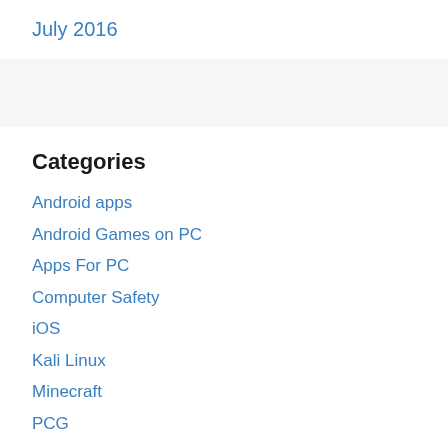July 2016
Categories
Android apps
Android Games on PC
Apps For PC
Computer Safety
iOS
Kali Linux
Minecraft
PCG